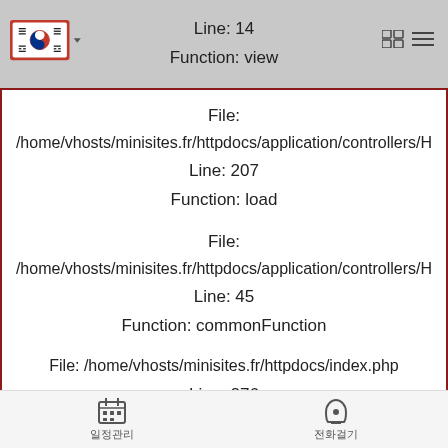Line: 14
Function: view
File:
/home/vhosts/minisites.fr/httpdocs/application/controllers/H
Line: 207
Function: load

File:
/home/vhosts/minisites.fr/httpdocs/application/controllers/H
Line: 45
Function: commonFunction

File: /home/vhosts/minisites.fr/httpdocs/index.php
Line: 276
Function: require_once
A PHP Error was encountered
Severity: 4096